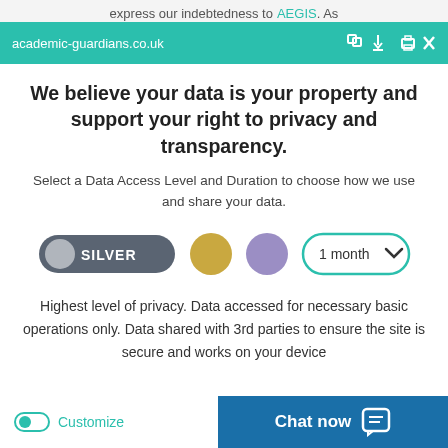express our indebtedness to AEGIS. As
academic-guardians.co.uk
We believe your data is your property and support your right to privacy and transparency.
Select a Data Access Level and Duration to choose how we use and share your data.
[Figure (infographic): Privacy level selector with Silver (dark grey pill button with grey circle icon), Gold (yellow/gold circle), Purple (purple circle) options and a '1 month' dropdown with teal border and chevron]
Highest level of privacy. Data accessed for necessary basic operations only. Data shared with 3rd parties to ensure the site is secure and works on your device
[Figure (infographic): Teal 'Save my preferences' rounded button]
Customize
Chat now